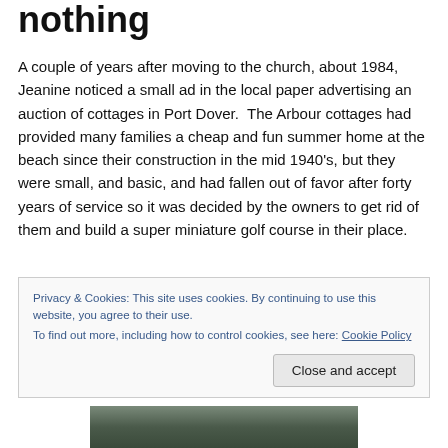nothing
A couple of years after moving to the church, about 1984, Jeanine noticed a small ad in the local paper advertising an auction of cottages in Port Dover.  The Arbour cottages had provided many families a cheap and fun summer home at the beach since their construction in the mid 1940's, but they were small, and basic, and had fallen out of favor after forty years of service so it was decided by the owners to get rid of them and build a super miniature golf course in their place.
Privacy & Cookies: This site uses cookies. By continuing to use this website, you agree to their use.
To find out more, including how to control cookies, see here: Cookie Policy
[Figure (photo): Partial view of a photo at the bottom of the page, appears to show a building exterior]